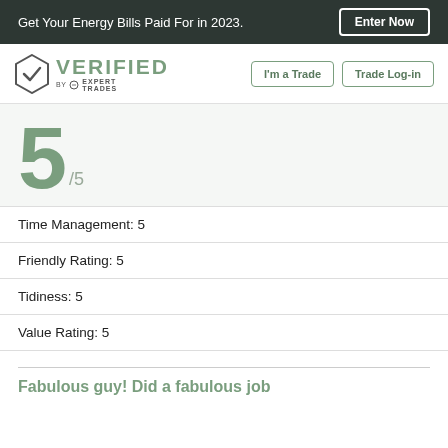Get Your Energy Bills Paid For in 2023. Enter Now
[Figure (logo): VERIFIED by Expert Trades logo with hexagon checkmark icon, and navigation buttons 'I'm a Trade' and 'Trade Log-in']
5 /5
Time Management: 5
Friendly Rating: 5
Tidiness: 5
Value Rating: 5
Fabulous guy! Did a fabulous job